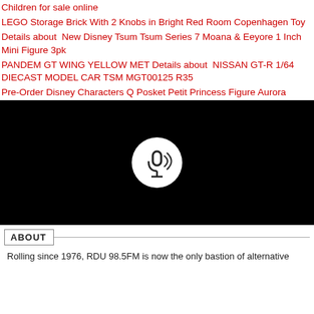Children for sale online
LEGO Storage Brick With 2 Knobs in Bright Red Room Copenhagen Toy
Details about  New Disney Tsum Tsum Series 7 Moana & Eeyore 1 Inch Mini Figure 3pk
PANDEM GT WING YELLOW MET Details about  NISSAN GT-R 1/64 DIECAST MODEL CAR TSM MGT00125 R35
Pre-Order Disney Characters Q Posket Petit Princess Figure Aurora
[Figure (logo): RDU 98.5FM logo — white circle with stylized radio tower/microphone graphic on black background]
ABOUT
Rolling since 1976, RDU 98.5FM is now the only bastion of alternative